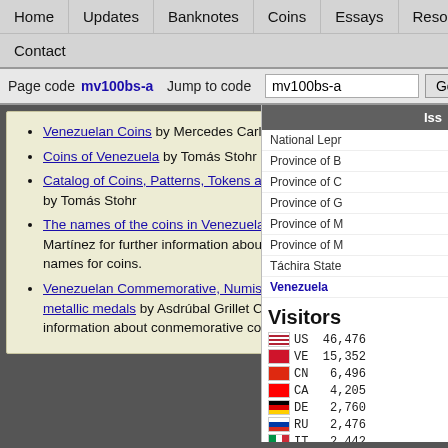Home | Updates | Banknotes | Coins | Essays | Resources | Sections | Contact
Page code mv100bs-a   Jump to code mv100bs-a   Go   Adva
Venezuelan Coins by Mercedes Carlota Pardo
Coins of Venezuela by Tomás Stohr
Catalog of Coins, Patterns, Tokens and Counterstamps by Tomás Stohr
The names of the coins in Venezuela by Marco Antonio Martínez for further information about the common names for coins.
Venezuelan Commemorative, Numismatic coins and metallic medals by Asdrúbal Grillet Correa for further information about conmemorative coins.
Iss
National Lepr
Province of B
Province of C
Province of G
Province of M
Province of M
Táchira State
Venezuela
Visitors
US 46,476
VE 15,352
CN 6,496
CA 4,205
DE 2,760
RU 2,476
IT 2,442
FR 2,411
IN 2,370
GB 2,026
Pageviews: 470